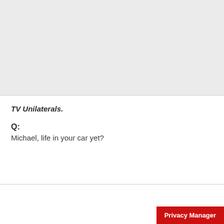[Figure (other): Gray background area at the top of the page, approximately half the page height]
TV Unilaterals.
Q:
Michael, life in your car yet?
Privacy Manager